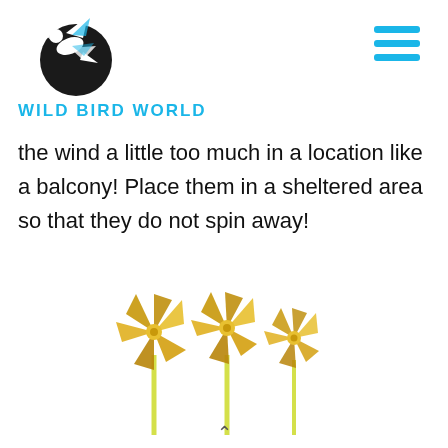WILD BIRD WORLD
the wind a little too much in a location like a balcony! Place them in a sheltered area so that they do not spin away!
[Figure (photo): Three gold metallic pinwheel spinners on yellow sticks against a white background]
^